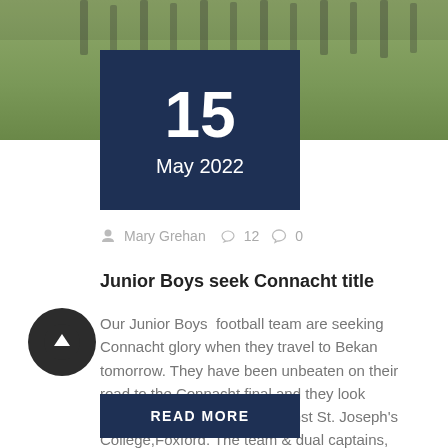[Figure (photo): Team photo on grass field, legs and feet of players visible at top]
15
May 2022
Mary Grehan  ♡ 12  💬 0
Junior Boys seek Connacht title
Our Junior Boys  football team are seeking Connacht glory when they travel to Bekan tomorrow. They have been unbeaten on their road to the Connacht final and they look forward to the challenge against St. Joseph's College,Foxford. The team & dual captains, Colm Costello and Robert Heneghan experienced success earlier in the year when they ...
READ MORE